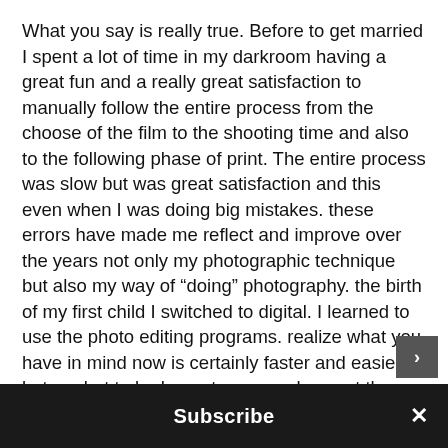What you say is really true. Before to get married I spent a lot of time in my darkroom having a great fun and a really great satisfaction to manually follow the entire process from the choose of the film to the shooting time and also to the following phase of print. The entire process was slow but was great satisfaction and this even when I was doing big mistakes. these errors have made me reflect and improve over the years not only my photographic technique but also my way of “doing” photography. the birth of my first child I switched to digital. I learned to use the photo editing programs. realize what you have in mind now is certainly faster and easier, but ..... but to be honest very much regret the time when I was losing entire hours in the darkroom. I felt ar...
Subscribe ×